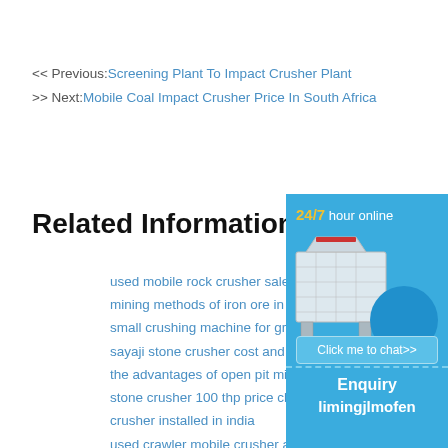<< Previous: Screening Plant To Impact Crusher Plant
>> Next: Mobile Coal Impact Crusher Price In South Africa
Related Information:
used mobile rock crusher sale
mining methods of iron ore in indon...
small crushing machine for granite
sayaji stone crusher cost and sale
the advantages of open pit mining
stone crusher 100 thp price china
crusher installed in india
used crawler mobile crusher and m...
produsen penghancur kerucut bijih
[Figure (infographic): 24/7 hour online chat widget with image of a crusher machine, Click me to chat>> button, Enquiry section, and limingjlmofen text]